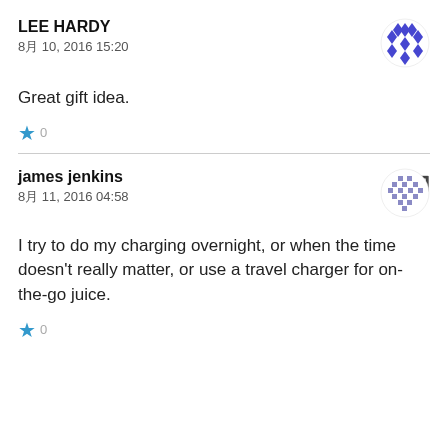LEE HARDY
8月 10, 2016 15:20
Great gift idea.
★ 0
james jenkins
8月 11, 2016 04:58
I try to do my charging overnight, or when the time doesn't really matter, or use a travel charger for on-the-go juice.
★ 0